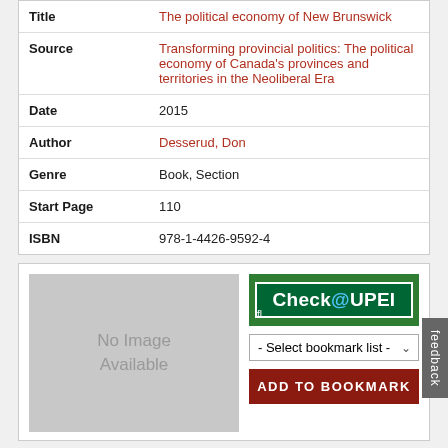| Field | Value |
| --- | --- |
| Title | The political economy of New Brunswick |
| Source | Transforming provincial politics: The political economy of Canada's provinces and territories in the Neoliberal Era |
| Date | 2015 |
| Author | Desserud, Don |
| Genre | Book, Section |
| Start Page | 110 |
| ISBN | 978-1-4426-9592-4 |
[Figure (other): No Image Available placeholder box (grey rectangle)]
[Figure (other): Check@UPEI button (green background with white inner border), Select bookmark list dropdown, ADD TO BOOKMARK red button, feedback vertical tab]